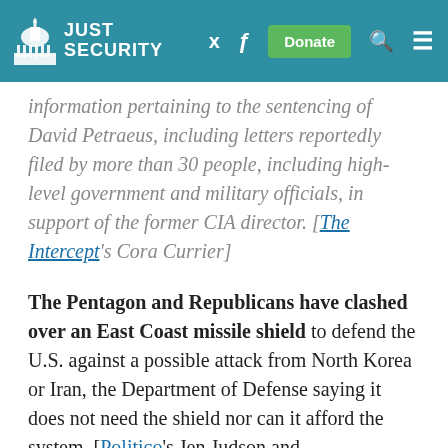Just Security
...information pertaining to the sentencing of David Petraeus, including letters reportedly filed by more than 30 people, including high-level government and military officials, in support of the former CIA director. [The Intercept's Cora Currier]
The Pentagon and Republicans have clashed over an East Coast missile shield to defend the U.S. against a possible attack from North Korea or Iran, the Department of Defense saying it does not need the shield nor can it afford the system. [Politico's Jen Judson and